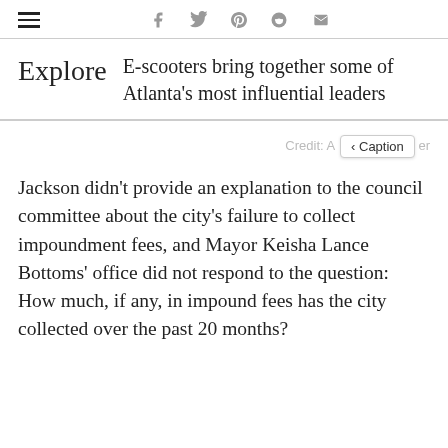≡  f  𝕥  p  reddit  ✉
Explore  E-scooters bring together some of Atlanta's most influential leaders
Credit: A‹ Caption ›er
Jackson didn't provide an explanation to the council committee about the city's failure to collect impoundment fees, and Mayor Keisha Lance Bottoms' office did not respond to the question: How much, if any, in impound fees has the city collected over the past 20 months?